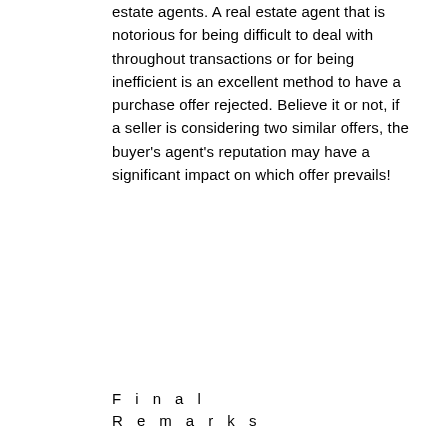estate agents. A real estate agent that is notorious for being difficult to deal with throughout transactions or for being inefficient is an excellent method to have a purchase offer rejected. Believe it or not, if a seller is considering two similar offers, the buyer's agent's reputation may have a significant impact on which offer prevails!
Final Remarks